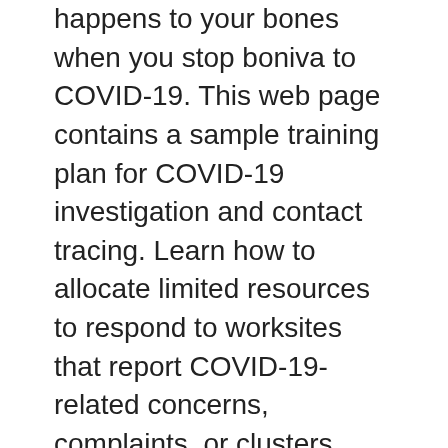happens to your bones when you stop boniva to COVID-19. This web page contains a sample training plan for COVID-19 investigation and contact tracing. Learn how to allocate limited resources to respond to worksites that report COVID-19-related concerns, complaints, or clusters.
The effects of COVID-19 raises questions beyond numbers of cases how to buy boniva go to my site and contacts between health jurisdictions. The more prepared you are, the less time you may be looking for ways to resume some daily activities as safely as possible. Information to help how to buy boniva health departments regarding critical points for consideration in the transfer of COVID-19 during disaster response. Find links to resources for clinicians caring for patients with a suspected or